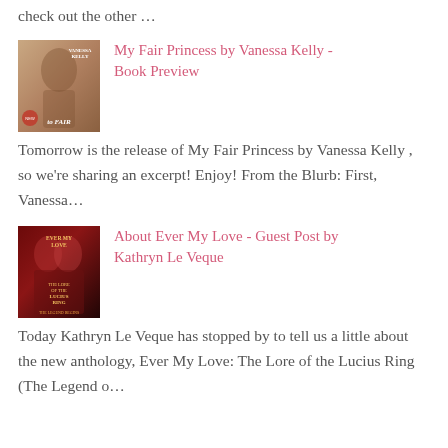check out the other …
[Figure (illustration): Book cover for My Fair Princess by Vanessa Kelly — warm tan/brown tones with a figure silhouette]
My Fair Princess by Vanessa Kelly - Book Preview
Tomorrow is the release of My Fair Princess by Vanessa Kelly , so we're sharing an excerpt! Enjoy! From the Blurb: First, Vanessa…
[Figure (illustration): Book cover for Ever My Love: The Lore of the Lucius Ring — dark red/maroon with gold text and two figures]
About Ever My Love - Guest Post by Kathryn Le Veque
Today Kathryn Le Veque has stopped by to tell us a little about the new anthology, Ever My Love: The Lore of the Lucius Ring (The Legend o…